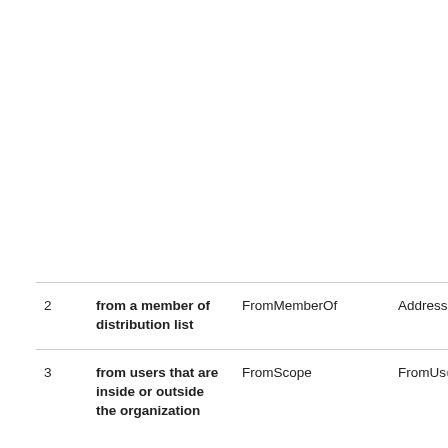| # | Description | Field1 | Field2 |
| --- | --- | --- | --- |
|  |  |  |  |
| 2 | from a member of distribution list | FromMemberOf | Address |
| 3 | from users that are inside or outside the organization | FromScope | FromUse |